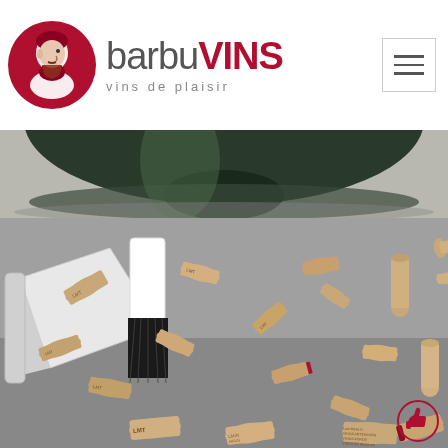[Figure (logo): barbuVINS logo — circular dark red badge with a bearded man silhouette profile facing left, next to text 'barbuVINS' in grey and dark red, with tagline 'vins de plaisir' in grey letterspaced below]
[Figure (photo): Partial close-up of the bottom of a dark green wine bottle on a grey surface]
[Figure (photo): Close-up photo of many scattered wine corks on a grey surface, with a white dustpan and black brush sweeping them. Some corks show text including 'LMT', 'VINOS ARTESANOS', 'VINOS PUROS', 'VINOS EN MOULAN', 'LAS HAUS', 'CAS BUIL'. A red-circled thumbs-up icon appears in the bottom-right corner.]